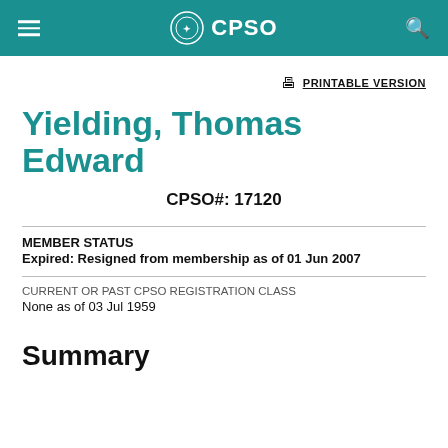CPSO
PRINTABLE VERSION
Yielding, Thomas Edward
CPSO#: 17120
MEMBER STATUS
Expired: Resigned from membership as of 01 Jun 2007
CURRENT OR PAST CPSO REGISTRATION CLASS
None as of 03 Jul 1959
Summary